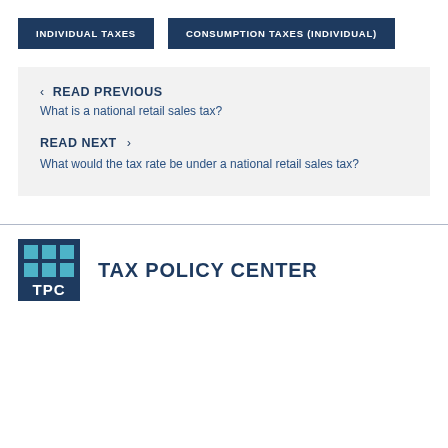INDIVIDUAL TAXES
CONSUMPTION TAXES (INDIVIDUAL)
‹ READ PREVIOUS
What is a national retail sales tax?
READ NEXT ›
What would the tax rate be under a national retail sales tax?
[Figure (logo): TPC Tax Policy Center logo with blue grid squares and TPC letters]
TAX POLICY CENTER